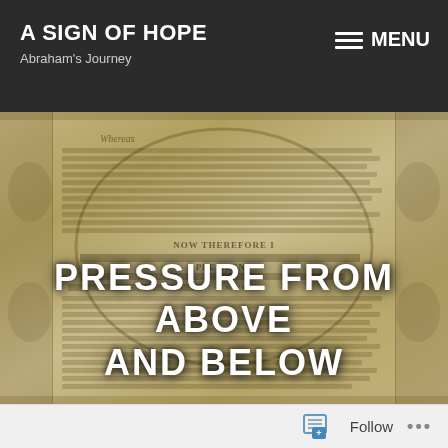A SIGN OF HOPE
Abraham's Journey
PRESSURE FROM ABOVE AND BELOW
[Figure (photo): Historical document image showing the Emancipation Proclamation with decorative engraved border, cursive handwritten text, bold heading 'NOW THEREFORE I', 'PRESIDENT OF THE UNITED STATES', 'COMMANDER IN CHIEF OF THE ARMY AND NAVY', with the overlay title text 'PRESSURE FROM ABOVE AND BELOW']
Follow